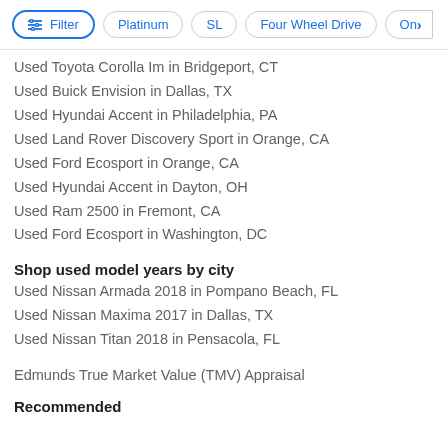Filter | Platinum | SL | Four Wheel Drive | On>
Used Toyota Corolla Im in Bridgeport, CT
Used Buick Envision in Dallas, TX
Used Hyundai Accent in Philadelphia, PA
Used Land Rover Discovery Sport in Orange, CA
Used Ford Ecosport in Orange, CA
Used Hyundai Accent in Dayton, OH
Used Ram 2500 in Fremont, CA
Used Ford Ecosport in Washington, DC
Shop used model years by city
Used Nissan Armada 2018 in Pompano Beach, FL
Used Nissan Maxima 2017 in Dallas, TX
Used Nissan Titan 2018 in Pensacola, FL
Edmunds True Market Value (TMV) Appraisal
Recommended